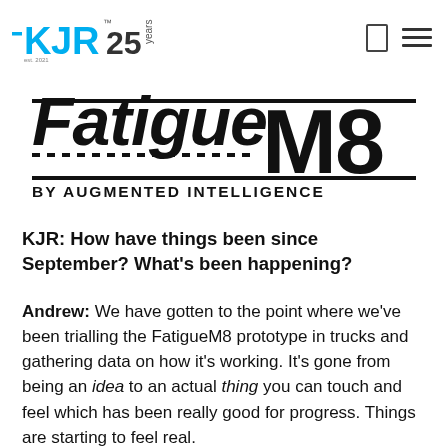KJR 25 years
[Figure (logo): FatigueM8 by Augmented Intelligence logo — stylized bold italic text 'FatigueM8' with horizontal dashed and solid lines, subtitle 'BY AUGMENTED INTELLIGENCE']
KJR: How have things been since September? What's been happening?
Andrew: We have gotten to the point where we've been trialling the FatigueM8 prototype in trucks and gathering data on how it's working. It's gone from being an idea to an actual thing you can touch and feel which has been really good for progress. Things are starting to feel real.